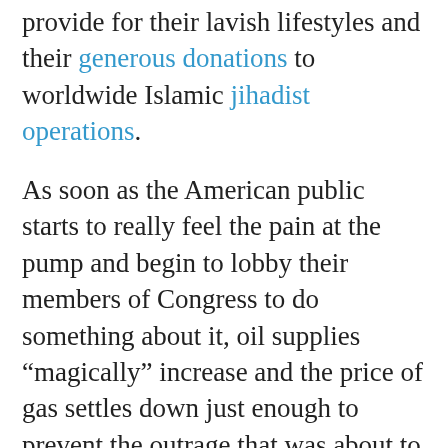provide for their lavish lifestyles and their generous donations to worldwide Islamic jihadist operations.
As soon as the American public starts to really feel the pain at the pump and begin to lobby their members of Congress to do something about it, oil supplies “magically” increase and the price of gas settles down just enough to prevent the outrage that was about to boil over. And so the cycle goes — by design!
We at ACT! for America are tired of being played in this deadly game of supplying the enemy with the resources to attack us. This is why we are fully supporting the Open Fuel Standard ACT of 2011. We are calling for Members of Congress to enthusiastically co